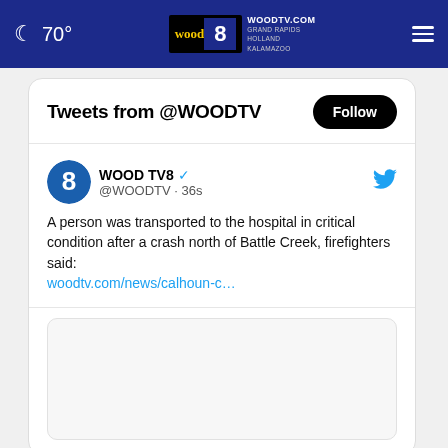🌙 70° | WOODTV.COM GRAND RAPIDS HOLLAND KALAMAZOO
Tweets from @WOODTV
WOOD TV8 @WOODTV · 36s
A person was transported to the hospital in critical condition after a crash north of Battle Creek, firefighters said: woodtv.com/news/calhoun-c…
[Figure (other): Embedded tweet image placeholder (gray rounded rectangle)]